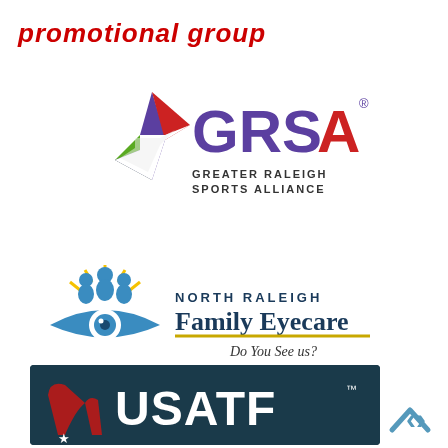promotional group
[Figure (logo): GRSA - Greater Raleigh Sports Alliance logo with colorful star/arrow emblem and purple GRSA lettering]
[Figure (logo): North Raleigh Family Eyecare logo with blue eye/people icon, gold underline, and tagline 'Do You See us?']
[Figure (logo): USATF logo on dark navy background with red winged track shoe emblem and white USATF lettering]